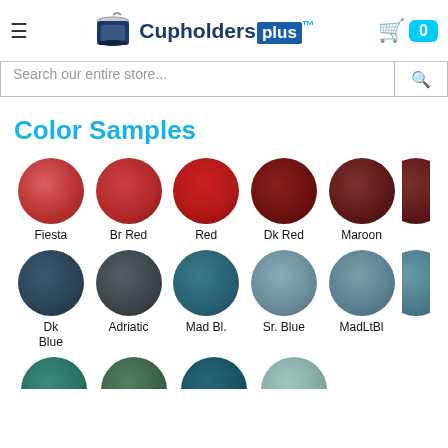CupholdersPlus — navigation header with logo, menu icon, and cart
Search our entire store...
Color Samples
[Figure (illustration): Grid of leather color sample circles with labels: Row 1 (reds): Fiesta, Br Red, Red, Dk Red, Maroon. Row 2 (blues): Dk Blue, Adriatic, Mad Bl., Sr. Blue, MadLtBl. Row 3 (teals, partially visible at bottom).]